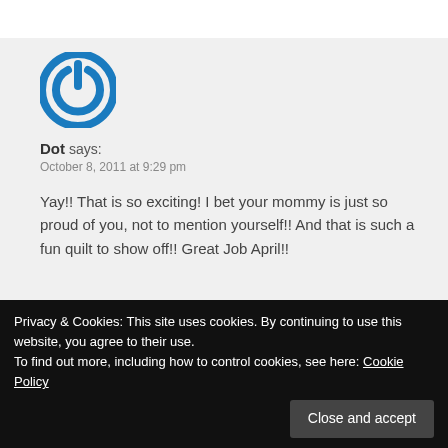[Figure (illustration): Blue circular power button icon avatar for user Dot]
Dot says:
October 8, 2011 at 9:29 pm
Yay!! That is so exciting! I bet your mommy is just so proud of you, not to mention yourself!! And that is such a fun quilt to show off!! Great Job April!!
Privacy & Cookies: This site uses cookies. By continuing to use this website, you agree to their use.
To find out more, including how to control cookies, see here: Cookie Policy
Close and accept